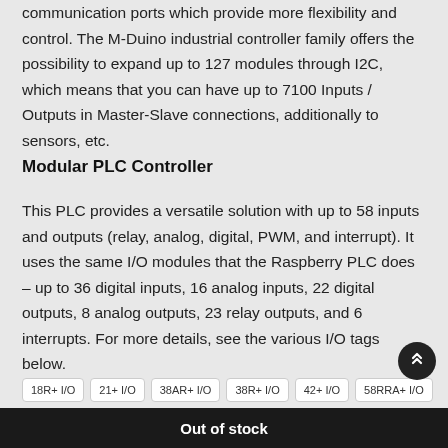communication ports which provide more flexibility and control. The M-Duino industrial controller family offers the possibility to expand up to 127 modules through I2C, which means that you can have up to 7100 Inputs / Outputs in Master-Slave connections, additionally to sensors, etc.
Modular PLC Controller
This PLC provides a versatile solution with up to 58 inputs and outputs (relay, analog, digital, PWM, and interrupt). It uses the same I/O modules that the Raspberry PLC does – up to 36 digital inputs, 16 analog inputs, 22 digital outputs, 8 analog outputs, 23 relay outputs, and 6 interrupts. For more details, see the various I/O tags below.
18R+ I/O
21+ I/O
38AR+ I/O
38R+ I/O
42+ I/O
58RRA+ I/O
Out of stock